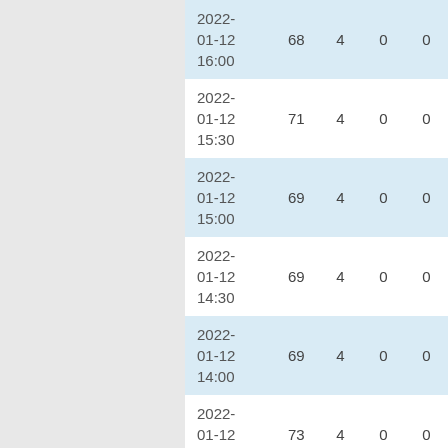| datetime | col1 | col2 | col3 | col4 |
| --- | --- | --- | --- | --- |
| 2022-01-12 16:00 | 68 | 4 | 0 | 0 |
| 2022-01-12 15:30 | 71 | 4 | 0 | 0 |
| 2022-01-12 15:00 | 69 | 4 | 0 | 0 |
| 2022-01-12 14:30 | 69 | 4 | 0 | 0 |
| 2022-01-12 14:00 | 69 | 4 | 0 | 0 |
| 2022-01-12 13:30 | 73 | 4 | 0 | 0 |